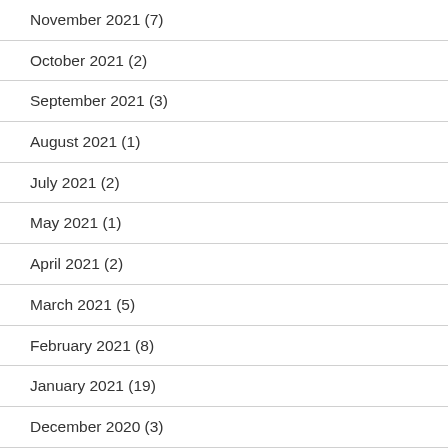November 2021 (7)
October 2021 (2)
September 2021 (3)
August 2021 (1)
July 2021 (2)
May 2021 (1)
April 2021 (2)
March 2021 (5)
February 2021 (8)
January 2021 (19)
December 2020 (3)